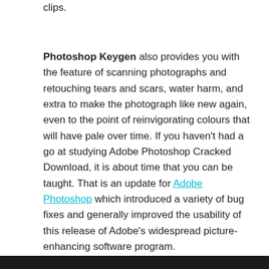clips.
Photoshop Keygen also provides you with the feature of scanning photographs and retouching tears and scars, water harm, and extra to make the photograph like new again, even to the point of reinvigorating colours that will have pale over time. If you haven't had a go at studying Adobe Photoshop Cracked Download, it is about time that you can be taught. That is an update for Adobe Photoshop which introduced a variety of bug fixes and generally improved the usability of this release of Adobe's widespread picture-enhancing software program.
[Figure (other): Dark bar at the bottom of the page, partially visible, appears to be a dark navigation or header bar]